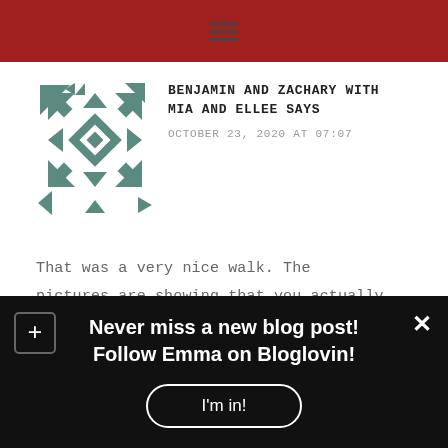☰
[Figure (illustration): Geometric quilt-style avatar icon in dark teal/green with diamond and triangle patterns]
BENJAMIN AND ZACHARY WITH MIA AND ELLEE SAYS
OCTOBER 23, 2020 AT 07:07
That was a very nice walk. The pictures are showing that you actually get seasons.
MY GBGV LIFE SAYS
Never miss a new blog post! Follow Emma on Bloglovin!
I'm in!